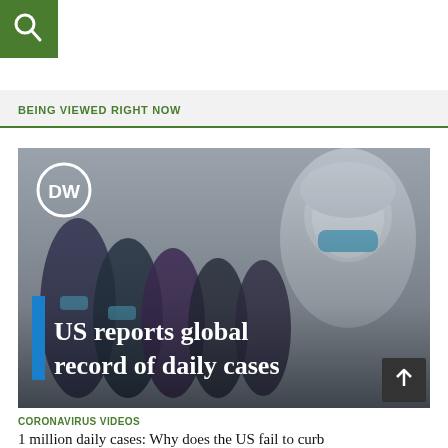[Figure (screenshot): Green search button with magnifying glass icon in top-left corner]
BEING VIEWED RIGHT NOW
[Figure (photo): DW news thumbnail image showing people in masks queuing, with a healthcare worker in full PPE in the foreground. Text overlay reads 'US reports global record of daily cases']
CORONAVIRUS VIDEOS
1 million daily cases: Why does the US fail to curb